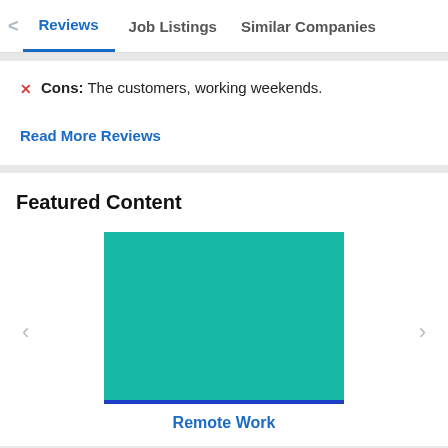Reviews | Job Listings | Similar Companies
Cons: The customers, working weekends.
Read More Reviews
Featured Content
[Figure (photo): Teal/turquoise colored image thumbnail with a blue strip at the bottom, representing a featured content carousel item]
Remote Work